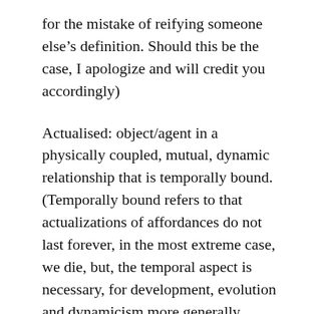for the mistake of reifying someone else's definition. Should this be the case, I apologize and will credit you accordingly)
Actualised: object/agent in a physically coupled, mutual, dynamic relationship that is temporally bound. (Temporally bound refers to that actualizations of affordances do not last forever, in the most extreme case, we die, but, the temporal aspect is necessary, for development, evolution and dynamicism more generally. Although it can be argued that someone else can keep actualizing what I did before death, this is still another instance, another coupling, that can be simultaneous to my coupling. This thus also holds for collective